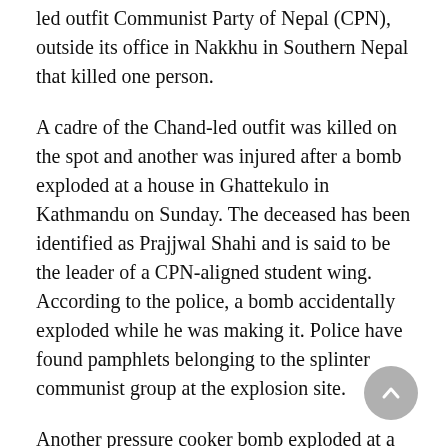led outfit Communist Party of Nepal (CPN), outside its office in Nakkhu in Southern Nepal that killed one person.
A cadre of the Chand-led outfit was killed on the spot and another was injured after a bomb exploded at a house in Ghattekulo in Kathmandu on Sunday. The deceased has been identified as Prajjwal Shahi and is said to be the leader of a CPN-aligned student wing. According to the police, a bomb accidentally exploded while he was making it. Police have found pamphlets belonging to the splinter communist group at the explosion site.
Another pressure cooker bomb exploded at a barber's shop in Sukedhara in Kathmandu, killing three and injuring four. Police suspect two of the deceased to be